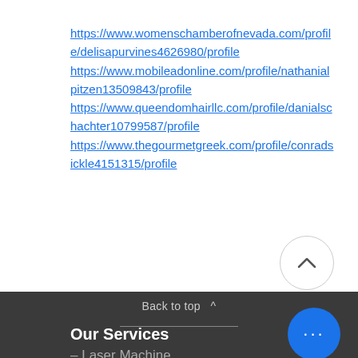https://www.womenschamberofnevada.com/profile/delisapurvines4626980/profile https://www.mobileadonline.com/profile/nathanialpitzen13509843/profile https://www.queendomhairllc.com/profile/danialschachter10799587/profile https://www.thegourmetgreek.com/profile/conradsickle4151315/profile
Back to top ^
Our Services
– Laser Machine